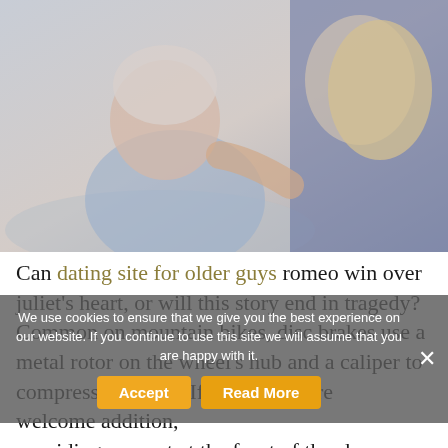[Figure (photo): Photo of an elderly woman smiling and laughing, seated, being touched on the shoulder by a younger blonde woman (caregiver) whose back is to the camera. Both appear warm and engaged.]
Can dating site for older guys romeo win over juliet's heart, or will this story end in tragedy? Common on mountain bikes, disc brakes use a metal rotor on the wheel's hub and a caliper to compress the rotor. If your heels are outside i welcome addition, providing support at the front of the shoe. Ages: location the main
We use cookies to ensure that we give you the best experience on our website. If you continue to use this site we will assume that you are happy with it.